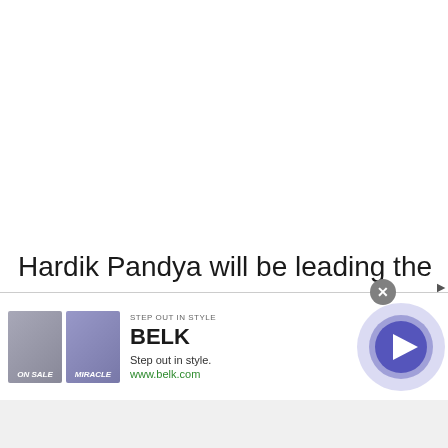Hardik Pandya will be leading the men in blue in this series, with the big boys in England ahead of the upcoming series against the Three Lions. These two matches will provide a golden opportunity to many
[Figure (screenshot): Advertisement banner for BELK - Step out in style. Shows two product images (a shoe and fabric/textile), brand name BELK, tagline 'Step out in style.', URL www.belk.com, a close button (X), and a circular play button on the right side.]